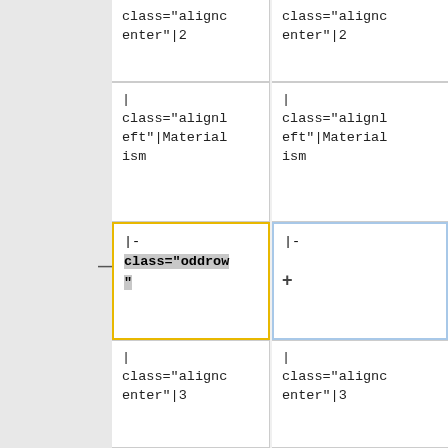| class="aligncenter"|2 | class="aligncenter"|2 |
| |
class="alignleft"|Materialism | |
class="alignleft"|Materialism |
| |-
class="oddrow" | |- |
| |
class="aligncenter"|3 | |
class="aligncenter"|3 |
| |
class="alignleft"|Subtlety | |
class="alignleft"|Subtlety |
| |-
class="evenrow" | |- |
| | | | |